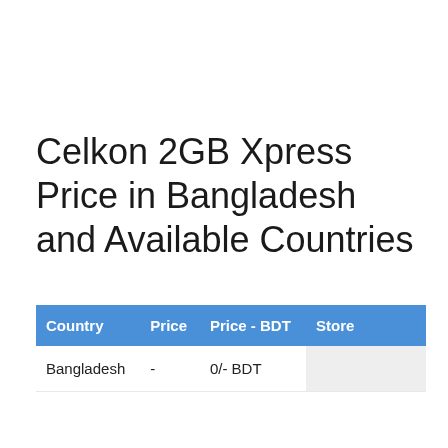Celkon 2GB Xpress Price in Bangladesh and Available Countries
| Country | Price | Price - BDT | Store |
| --- | --- | --- | --- |
| Bangladesh | - | 0/- BDT |  |